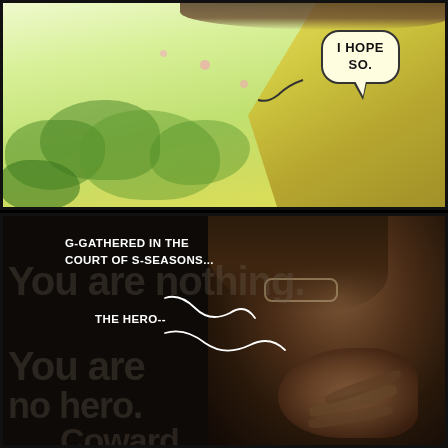[Figure (illustration): Top manga panel: bright green/yellow outdoor scene with foliage and a character visible on the right side. A speech bubble says 'I HOPE SO.' in the upper right.]
[Figure (illustration): Bottom manga panel: dark background with a character's face visible on the right. White speech text reads 'G-GATHERED IN THE COURT OF S-SEASONS...' and 'THE HERO--'. Large grey watermark text reads 'You are nothing.' and 'You are no hero. Coward.']